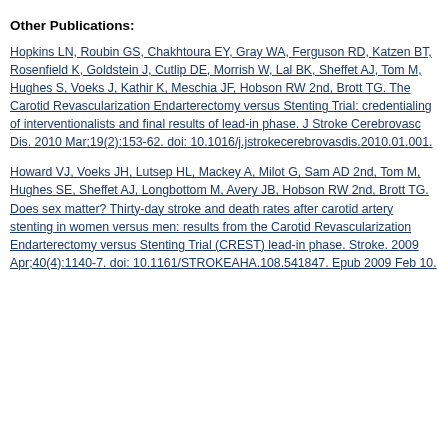Other Publications:
Hopkins LN, Roubin GS, Chakhtoura EY, Gray WA, Ferguson RD, Katzen BT, Rosenfield K, Goldstein J, Cutlip DE, Morrish W, Lal BK, Sheffet AJ, Tom M, Hughes S, Voeks J, Kathir K, Meschia JF, Hobson RW 2nd, Brott TG. The Carotid Revascularization Endarterectomy versus Stenting Trial: credentialing of interventionalists and final results of lead-in phase. J Stroke Cerebrovasc Dis. 2010 Mar;19(2):153-62. doi: 10.1016/j.jstrokecerebrovasdis.2010.01.001.
Howard VJ, Voeks JH, Lutsep HL, Mackey A, Milot G, Sam AD 2nd, Tom M, Hughes SE, Sheffet AJ, Longbottom M, Avery JB, Hobson RW 2nd, Brott TG. Does sex matter? Thirty-day stroke and death rates after carotid artery stenting in women versus men: results from the Carotid Revascularization Endarterectomy versus Stenting Trial (CREST) lead-in phase. Stroke. 2009 Apr;40(4):1140-7. doi: 10.1161/STROKEAHA.108.541847. Epub 2009 Feb 10.